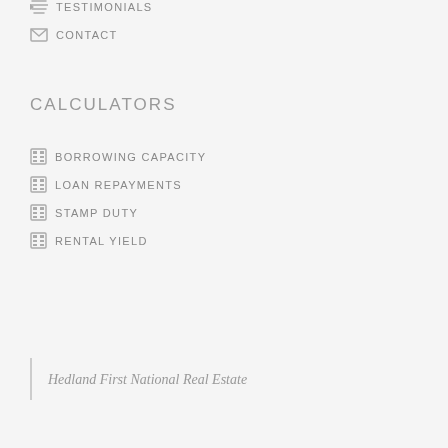TESTIMONIALS
CONTACT
CALCULATORS
BORROWING CAPACITY
LOAN REPAYMENTS
STAMP DUTY
RENTAL YIELD
Hedland First National Real Estate